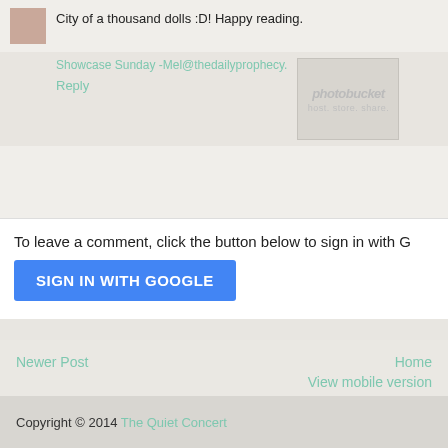City of a thousand dolls :D! Happy reading.
Showcase Sunday -Mel@thedailyprophecy.
Reply
[Figure (logo): Photobucket logo watermark with text 'host. store. share.']
To leave a comment, click the button below to sign in with G
SIGN IN WITH GOOGLE
Newer Post
Home
View mobile version
Subscribe to: Post Comments (Atom)
Copyright © 2014 The Quiet Concert